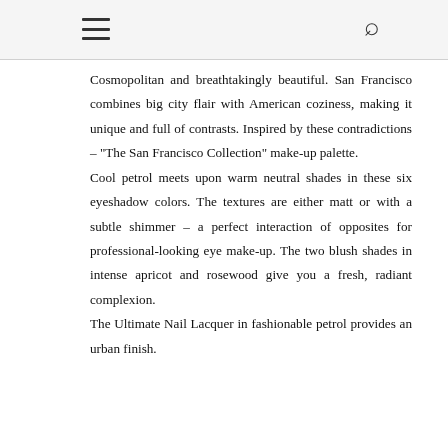Cosmopolitan and breathtakingly beautiful. San Francisco combines big city flair with American coziness, making it unique and full of contrasts. Inspired by these contradictions – "The San Francisco Collection" make-up palette.
Cool petrol meets upon warm neutral shades in these six eyeshadow colors. The textures are either matt or with a subtle shimmer – a perfect interaction of opposites for professional-looking eye make-up. The two blush shades in intense apricot and rosewood give you a fresh, radiant complexion.
The Ultimate Nail Lacquer in fashionable petrol provides an urban finish.